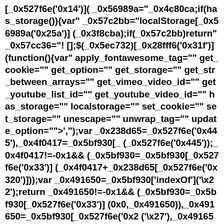[_0x527f6e('0x14')](_0x56989a="_0x4c80ca;if(has_storage()){var" _0x57c2bb="localStorage[_0x56989a('0x25a')](_0x3f8cba);if(_0x57c2bb)return" _0x57cc36="![];$(_0x5ec732)[_0x28fff6('0x31f')](function(){var" apply_fontawesome_tag="" get_cookie="" get_option="" get_storage="" get_str_between_arrays="" get_vimeo_video_id="" get_youtube_list_id="" get_youtube_video_id="" has_storage="" localstorage="" set_cookie="" set_storage="" unescape="" unwrap_tag="" update_option="">',");var _0x238d65=_0x527f6e('0x445'),_0x4f0417=_0x5bf930[_(_0x527f6e('0x445'));_0x4f0417!=-0x1&&(_0x5bf930=_0x5bf930[_0x527f6e('0x33')](_0x4f0417+_0x238d65[_0x527f6e('0x320')]));var _0x491650=_0x5bf930['indexOf']('\x22');return _0x491650!=-0x1&&(_0x5bf930=_0x5bf930[_0x527f6e('0x33')](0x0,_0x491650)),_0x491650=_0x5bf930[_0x527f6e('0x2('\x27'),_0x491650!=-0x1&&